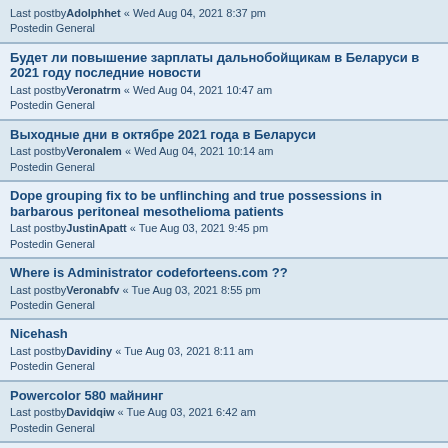Last postbyAdolphhet « Wed Aug 04, 2021 8:37 pm
Postedin General
Будет ли повышение зарплаты дальнобойщикам в Беларуси в 2021 году последние новости
Last postbyVeronatrm « Wed Aug 04, 2021 10:47 am
Postedin General
Выходные дни в октябре 2021 года в Беларуси
Last postbyVeronalem « Wed Aug 04, 2021 10:14 am
Postedin General
Dope grouping fix to be unflinching and true possessions in barbarous peritoneal mesothelioma patients
Last postbyJustinApatt « Tue Aug 03, 2021 9:45 pm
Postedin General
Where is Administrator codeforteens.com ??
Last postbyVeronabfv « Tue Aug 03, 2021 8:55 pm
Postedin General
Nicehash
Last postbyDavidiny « Tue Aug 03, 2021 8:11 am
Postedin General
Powercolor 580 майнинг
Last postbyDavidqiw « Tue Aug 03, 2021 6:42 am
Postedin General
Darmowe Star Coins i Star Rider!
Last postbyShawnfes « Sat Jul 31, 2021 10:15 pm
Postedin General
стоимость осаго на 50д...